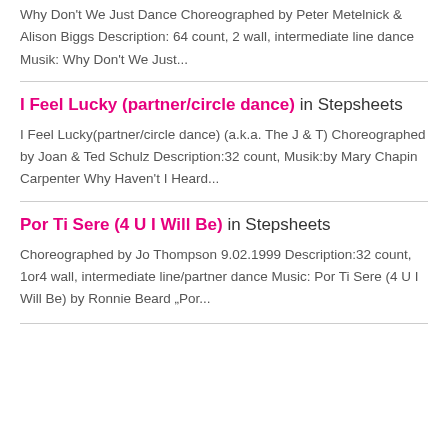Why Don't We Just Dance Choreographed by Peter Metelnick & Alison Biggs Description: 64 count, 2 wall, intermediate line dance Musik: Why Don't We Just...
I Feel Lucky (partner/circle dance) in Stepsheets
I Feel Lucky(partner/circle dance) (a.k.a. The J & T) Choreographed by Joan & Ted Schulz Description:32 count, Musik:by Mary Chapin Carpenter Why Haven't I Heard...
Por Ti Sere (4 U I Will Be) in Stepsheets
Choreographed by Jo Thompson 9.02.1999 Description:32 count, 1or4 wall, intermediate line/partner dance Music: Por Ti Sere (4 U I Will Be) by Ronnie Beard „Por...